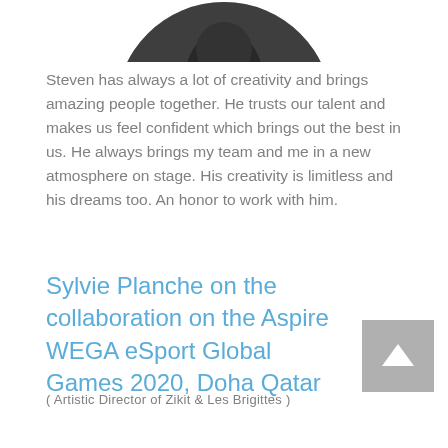[Figure (photo): Partial circular cropped black and white portrait photo of a person, showing top portion]
Steven has always a lot of creativity and brings amazing people together. He trusts our talent and makes us feel confident which brings out the best in us. He always brings my team and me in a new atmosphere on stage. His creativity is limitless and his dreams too. An honor to work with him.
Sylvie Planche on the collaboration on the Aspire WEGA eSport Global Games 2020, Doha Qatar
( Artistic Director of Zikit & Les Brigittes )